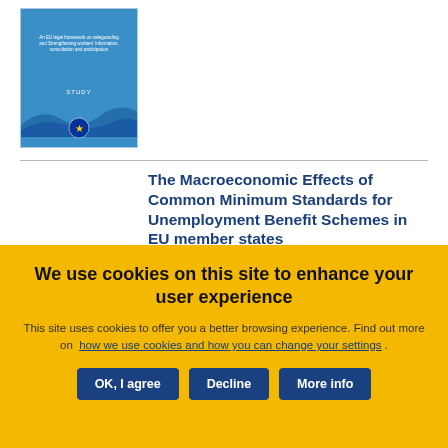[Figure (illustration): Thumbnail image of an EU legal framework study booklet cover with blue waves and EU logo]
The Macroeconomic Effects of Common Minimum Standards for Unemployment Benefit Schemes in EU member states
Publication
Study
We use cookies on this site to enhance your user experience
This site uses cookies to offer you a better browsing experience. Find out more on how we use cookies and how you can change your settings .
OK, I agree
Decline
More info